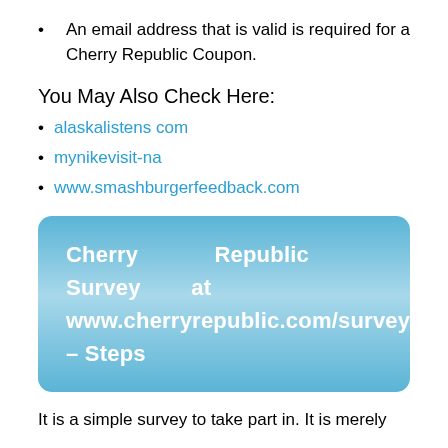An email address that is valid is required for a Cherry Republic Coupon.
You May Also Check Here:
alaskalistens com
mynikevisit-na
www.smashburgerfeedback.com
[Figure (infographic): Blue rounded rectangle banner with white bold text: Cherry Republic Survey at www.cherryrepublic.com/survey – Steps]
It is a simple survey to take part in. It is merely